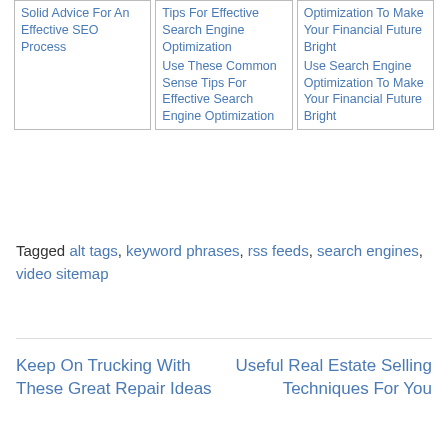Solid Advice For An Effective SEO Process
Tips For Effective Search Engine Optimization / Use These Common Sense Tips For Effective Search Engine Optimization
Optimization To Make Your Financial Future Bright / Use Search Engine Optimization To Make Your Financial Future Bright
Tagged alt tags, keyword phrases, rss feeds, search engines, video sitemap
Keep On Trucking With These Great Repair Ideas
Useful Real Estate Selling Techniques For You